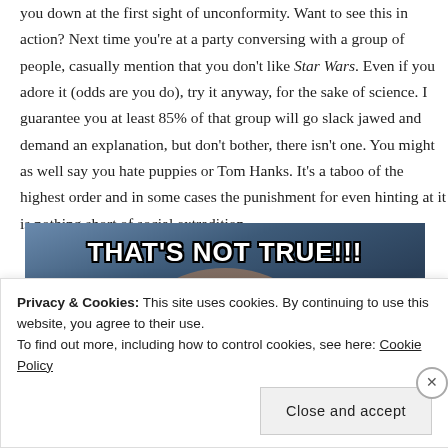you down at the first sight of unconformity. Want to see this in action? Next time you're at a party conversing with a group of people, casually mention that you don't like Star Wars. Even if you adore it (odds are you do), try it anyway, for the sake of science. I guarantee you at least 85% of that group will go slack jawed and demand an explanation, but don't bother, there isn't one. You might as well say you hate puppies or Tom Hanks. It's a taboo of the highest order and in some cases the punishment for even hinting at it is nothing short of social extradition.
[Figure (photo): Meme image from Star Wars showing a character with text 'THAT'S NOT TRUE!!!' in bold white Impact font with black outline overlay]
Privacy & Cookies: This site uses cookies. By continuing to use this website, you agree to their use.
To find out more, including how to control cookies, see here: Cookie Policy

Close and accept